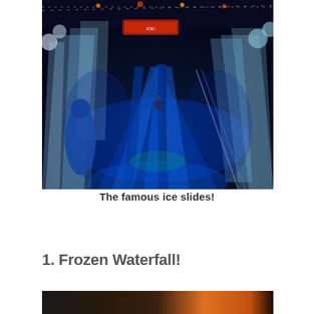[Figure (photo): Indoor ice slide attraction with blue lighting, large ice sculptures lining a long corridor with ice slides, people visible, colorful lights and decorations overhead]
The famous ice slides!
1. Frozen Waterfall!
[Figure (photo): Bottom portion of another photo, partially visible, dark with warm orange/red tones]